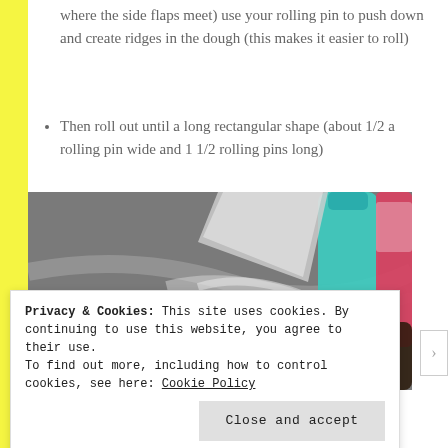where the side flaps meet) use your rolling pin to push down and create ridges in the dough (this makes it easier to roll)
Then roll out until a long rectangular shape (about 1/2 a rolling pin wide and 1 1/2 rolling pins long)
[Figure (photo): Photo of rolled-out dough on a dark marble countertop with flour, a teal water bottle and other items in the background]
Privacy & Cookies: This site uses cookies. By continuing to use this website, you agree to their use.
To find out more, including how to control cookies, see here: Cookie Policy